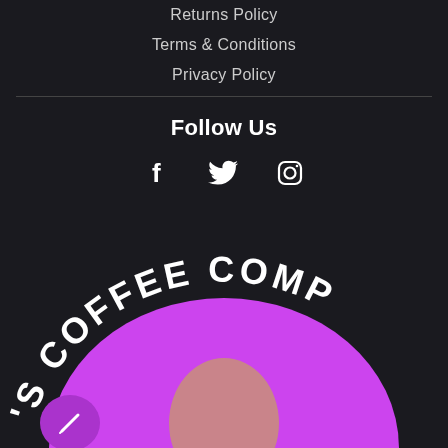Returns Policy
Terms & Conditions
Privacy Policy
Follow Us
[Figure (infographic): Social media icons: Facebook (f), Twitter (bird), Instagram (camera outline)]
[Figure (logo): Partial circular logo reading 'S COFFEE COMP' in neon white text on dark background with a magenta/purple circular element and a blurred person's face in center. Bottom-left shows a small purple speech bubble icon.]